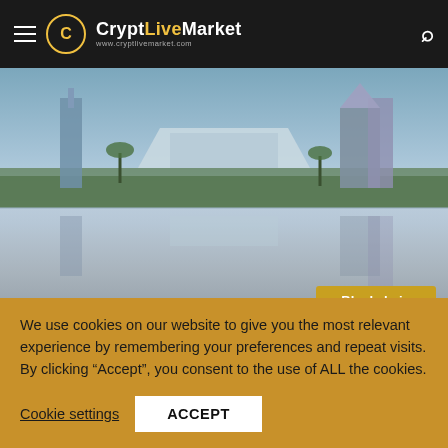CryptLiveMarket www.cryptlivemarket.com
[Figure (photo): Aerial cityscape of Kuala Lumpur / Malaysian city waterfront with modern buildings reflected in water, golden hour lighting. Blockchain badge and Bitcoin.com watermark visible in corner.]
admin  February 20, 2021  0  5
Malaysian Police Bust Gang That Stole
We use cookies on our website to give you the most relevant experience by remembering your preferences and repeat visits. By clicking “Accept”, you consent to the use of ALL the cookies.
Cookie settings  ACCEPT